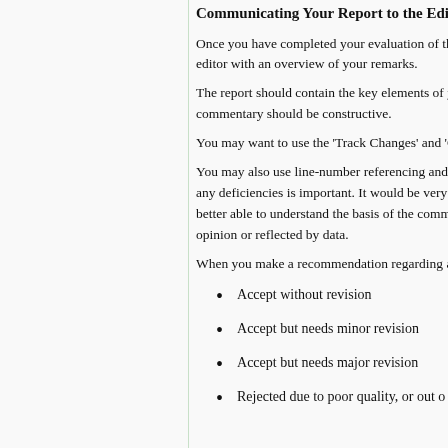Communicating Your Report to the Editor
Once you have completed your evaluation of the editor with an overview of your remarks.
The report should contain the key elements of your commentary should be constructive.
You may want to use the 'Track Changes' and 'C
You may also use line-number referencing and any deficiencies is important. It would be very better able to understand the basis of the comments opinion or reflected by data.
When you make a recommendation regarding an
Accept without revision
Accept but needs minor revision
Accept but needs major revision
Rejected due to poor quality, or out o